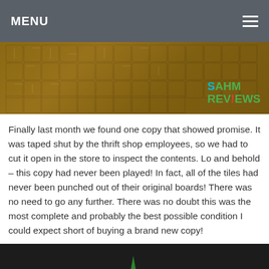MENU
[Figure (photo): Overhead view of a board game with maze-like tile layout on a wooden table, with SAHM Reviews logo in bottom right corner]
Finally last month we found one copy that showed promise. It was taped shut by the thrift shop employees, so we had to cut it open in the store to inspect the contents. Lo and behold – this copy had never been played! In fact, all of the tiles had never been punched out of their original boards! There was no need to go any further. There was no doubt this was the most complete and probably the best possible condition I could expect short of buying a brand new copy!
[Figure (photo): Close-up angled view of board game tiles arranged on a table with a green game piece visible, with reCAPTCHA privacy overlay in bottom right]